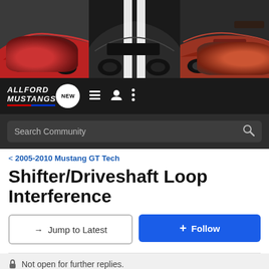[Figure (photo): Mustang forum banner showing three Ford Mustangs — a red one on the left, a black GT500 with white stripes in the center, and a red/orange Fox body on the right against dark backgrounds]
ALLFORD MUSTANGS — navigation bar with NEW chat bubble, list icon, user icon, and more options icon
Search Community
< 2005-2010 Mustang GT Tech
Shifter/Driveshaft Loop Interference
→ Jump to Latest
+ Follow
Not open for further replies.
1 - 6 of 6 Posts